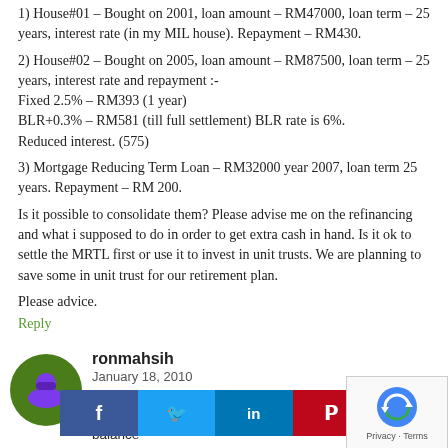1) House#01 – Bought on 2001, loan amount – RM47000, loan term – 25 years, interest rate (in my MIL house). Repayment – RM430.
2) House#02 – Bought on 2005, loan amount – RM87500, loan term – 25 years, interest rate and repayment :-
Fixed 2.5% – RM393 (1 year)
BLR+0.3% – RM581 (till full settlement) BLR rate is 6%. Reduced interest. (575)
3) Mortgage Reducing Term Loan – RM32000 year 2007, loan term 25 years. Repayment – RM 200.
Is it possible to consolidate them? Please advise me on the refinancing and what i supposed to do in order to get extra cash in hand. Is it ok to settle the MRTL first or use it to invest in unit trusts. We are planning to save some in unit trust for our retirement plan.
Please advice.
Reply
ronmahsih
January 18, 2010
To Jack,
DO NOT use credit card balance...
The interest rate is either the same or HIGHER than your credit card. Credit cards are mostly charged at